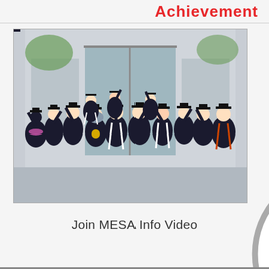Achievement
[Figure (photo): Group of college graduates in caps and gowns celebrating outside a building, raising their fists and pointing upward. Several wear medals, leis, and colored sashes.]
Join MESA Info Video